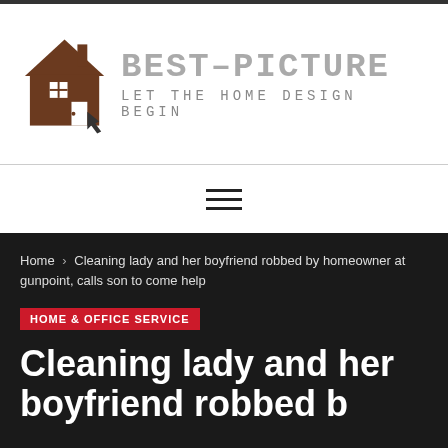[Figure (logo): Best-Picture website logo with a brown house icon and the text BEST-PICTURE and tagline LET THE HOME DESIGN BEGIN]
[Figure (other): Hamburger menu icon (three horizontal lines)]
Home > Cleaning lady and her boyfriend robbed by homeowner at gunpoint, calls son to come help
HOME & OFFICE SERVICE
Cleaning lady and her boyfriend robbed by homeowner at gunpoint, calls son to come help